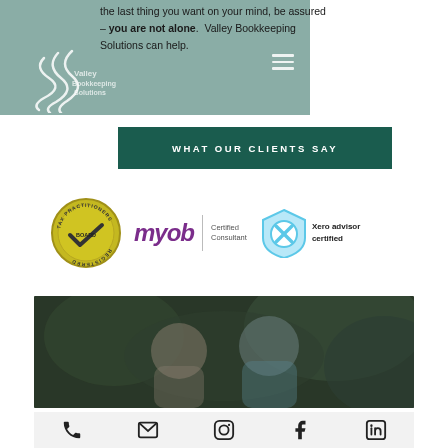the last thing you want on your mind, be assured – you are not alone. Valley Bookkeeping Solutions can help.
[Figure (logo): Valley Bookkeeping Solutions logo — white wave/scroll design on sage green background with company name text]
WHAT OUR CLIENTS SAY
[Figure (logo): Three certification logos: Tax Practitioners Board Registered circular badge (yellow-green), MYOB Certified Consultant logo (purple italic text with divider), and Xero advisor certified shield badge (light blue)]
[Figure (photo): Blurred outdoor photo of two people, appearing to be two women, set against a natural background with dark green foliage]
[Figure (infographic): Footer icon bar with five icons: phone, email/envelope, Instagram, Facebook, LinkedIn]